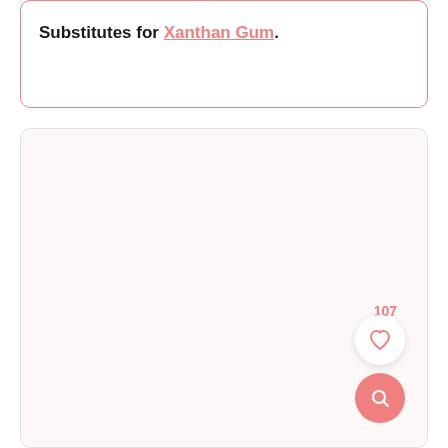Substitutes for Xanthan Gum.
[Figure (other): A light pink/white card area with a like count of 107, a heart (favorite) button, and a pink search button in the lower right corner.]